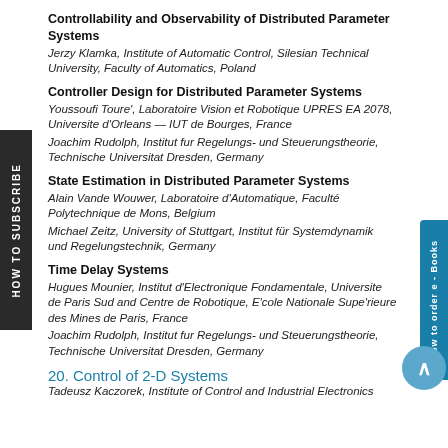Controllability and Observability of Distributed Parameter Systems
Jerzy Klamka, Institute of Automatic Control, Silesian Technical University, Faculty of Automatics, Poland
Controller Design for Distributed Parameter Systems
Youssoufi Toure', Laboratoire Vision et Robotique UPRES EA 2078, Universite d'Orleans — IUT de Bourges, France
Joachim Rudolph, Institut fur Regelungs- und Steuerungstheorie, Technische Universitat Dresden, Germany
State Estimation in Distributed Parameter Systems
Alain Vande Wouwer, Laboratoire d'Automatique, Faculté Polytechnique de Mons, Belgium
Michael Zeitz, University of Stuttgart, Institut für Systemdynamik und Regelungstechnik, Germany
Time Delay Systems
Hugues Mounier, Institut d'Electronique Fondamentale, Universite de Paris Sud and Centre de Robotique, E'cole Nationale Supe'rieure des Mines de Paris, France
Joachim Rudolph, Institut fur Regelungs- und Steuerungstheorie, Technische Universitat Dresden, Germany
20. Control of 2-D Systems
Tadeusz Kaczorek, Institute of Control and Industrial Electronics